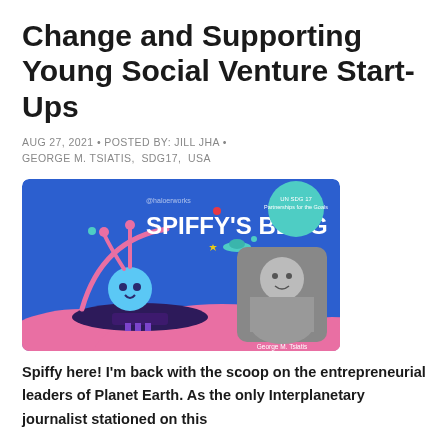Change and Supporting Young Social Venture Start-Ups
AUG 27, 2021 • POSTED BY: JILL JHA • GEORGE M. TSIATIS,  SDG17,  USA
[Figure (illustration): Spiffy's Blog banner image with blue background, cartoon alien character on a UFO, and a black-and-white photo of George M. Tsiatis (Co-founder & CEO, The Resolution Project). Top right corner shows 'UN SDG 17 Partnerships for the Goals' in a teal circle. Top left shows '@haloerworks'.]
Spiffy here! I'm back with the scoop on the entrepreneurial leaders of Planet Earth. As the only Interplanetary journalist stationed on this